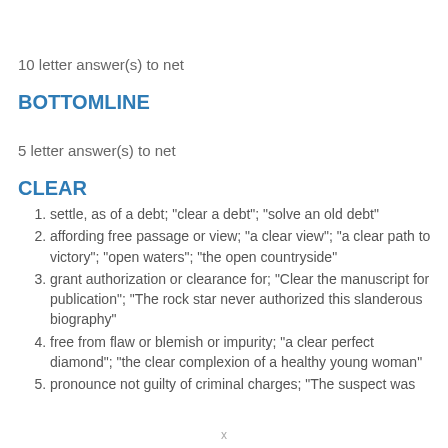10 letter answer(s) to net
BOTTOMLINE
5 letter answer(s) to net
CLEAR
settle, as of a debt; "clear a debt"; "solve an old debt"
affording free passage or view; "a clear view"; "a clear path to victory"; "open waters"; "the open countryside"
grant authorization or clearance for; "Clear the manuscript for publication"; "The rock star never authorized this slanderous biography"
free from flaw or blemish or impurity; "a clear perfect diamond"; "the clear complexion of a healthy young woman"
pronounce not guilty of criminal charges; "The suspect was
x